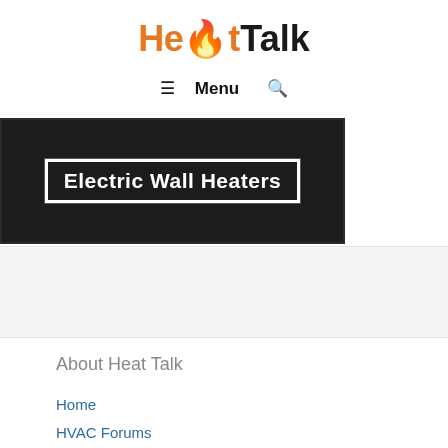HeatTalk — Menu (navigation bar)
[Figure (illustration): Dark banner image with white bold text reading 'Electric Wall Heaters' inside a white rectangular border]
About Heat Talk
Home
HVAC Forums